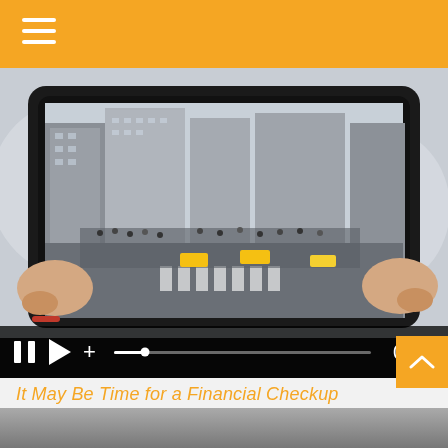[Figure (photo): Person holding a tablet displaying a busy city street (New York-style) with a video player interface showing pause, play, volume controls, progress bar, and timestamp 0:46]
It May Be Time for a Financial Checkup
It’s never a bad time to speak with your financial professional about changes in your situation.
[Figure (photo): Partial bottom image strip, appears to show hands or a dark scene, cropped]